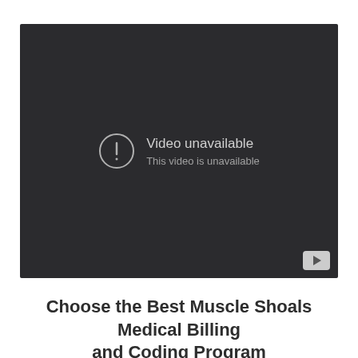[Figure (screenshot): Embedded YouTube video player showing 'Video unavailable - This video is unavailable' error message on a dark background, with a YouTube play button icon in the bottom right corner.]
Choose the Best Muscle Shoals Medical Billing and Coding Program